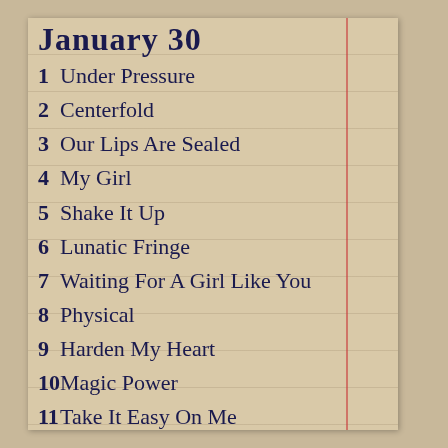January 30
1 Under Pressure
2 Centerfold
3 Our Lips Are Sealed
4 My Girl
5 Shake It Up
6 Lunatic Fringe
7 Waiting For A Girl Like You
8 Physical
9 Harden My Heart
10 Magic Power
11 Take It Easy On Me